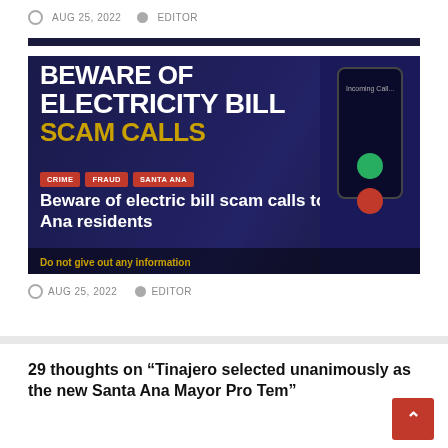AUG 25, 2022  EDITOR
[Figure (photo): Smartphone with incoming call displayed on screen with overlay text 'BEWARE OF ELECTRICITY BILL SCAM CALLS' and tags CRIME, FRAUD, SANTA ANA, and article title 'Beware of electric bill scam calls to Santa Ana residents'. Bottom strip: 'Do not give out any information']
AUG 25, 2022  EDITOR
29 thoughts on “Tinajero selected unanimously as the new Santa Ana Mayor Pro Tem”